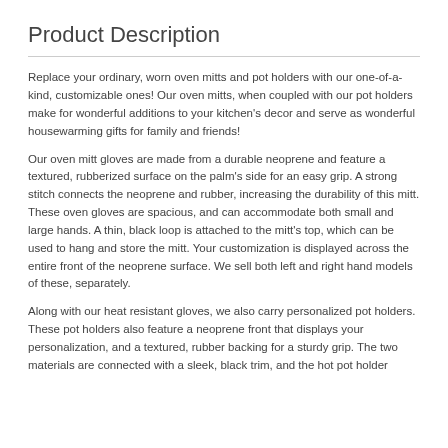Product Description
Replace your ordinary, worn oven mitts and pot holders with our one-of-a-kind, customizable ones! Our oven mitts, when coupled with our pot holders make for wonderful additions to your kitchen's decor and serve as wonderful housewarming gifts for family and friends!
Our oven mitt gloves are made from a durable neoprene and feature a textured, rubberized surface on the palm's side for an easy grip. A strong stitch connects the neoprene and rubber, increasing the durability of this mitt. These oven gloves are spacious, and can accommodate both small and large hands. A thin, black loop is attached to the mitt's top, which can be used to hang and store the mitt. Your customization is displayed across the entire front of the neoprene surface. We sell both left and right hand models of these, separately.
Along with our heat resistant gloves, we also carry personalized pot holders. These pot holders also feature a neoprene front that displays your personalization, and a textured, rubber backing for a sturdy grip. The two materials are connected with a sleek, black trim, and the hot pot holder